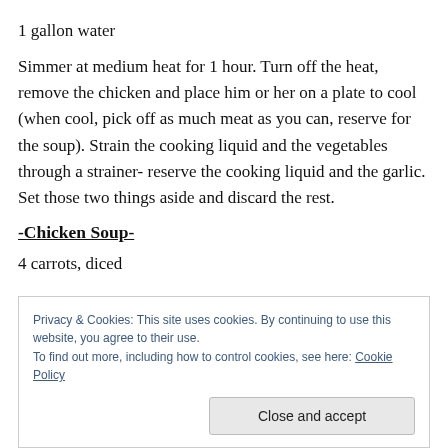1 gallon water
Simmer at medium heat for 1 hour. Turn off the heat, remove the chicken and place him or her on a plate to cool (when cool, pick off as much meat as you can, reserve for the soup). Strain the cooking liquid and the vegetables through a strainer- reserve the cooking liquid and the garlic. Set those two things aside and discard the rest.
-Chicken Soup-
4 carrots, diced
Privacy & Cookies: This site uses cookies. By continuing to use this website, you agree to their use.
To find out more, including how to control cookies, see here: Cookie Policy
Close and accept